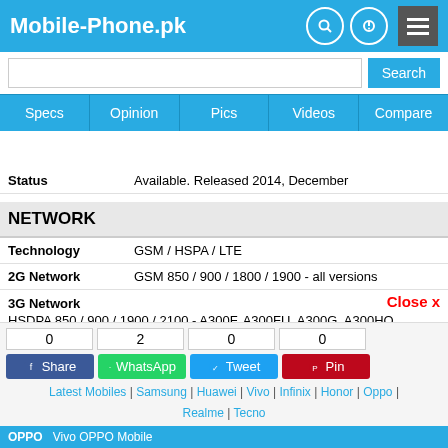Mobile-Phone.pk
Search
Specs | Opinion | Pics | Videos | Compare
| Field | Value |
| --- | --- |
| Status | Available. Released 2014, December |
| NETWORK |  |
| Technology | GSM / HSPA / LTE |
| 2G Network | GSM 850 / 900 / 1800 / 1900 - all versions |
| 3G Network | HSDPA 850 / 900 / 1900 / 2100 - A300F, A300FU, A300G, A300HQ, A300M, A300YZ |
| 4G Network | LTE band 1(2100), 3(1800), 5(850), 7(2600), 8(900), 20(800) - A300F, A300FU LTE band 1(2100), 3(1800), 5(850), 7(2600), 8(900), 20(800), 40(2300) - A300G LTE band 1(2100), 3(1800), 5(850), 7(2600), 17(700) - A300... |
0 Share | 2 WhatsApp | 0 Tweet | 0 Pin
Latest Mobiles | Samsung | Huawei | Vivo | Infinix | Honor | Oppo | Realme | Tecno